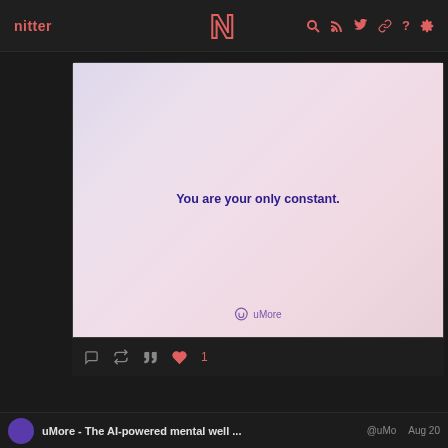nitter
[Figure (screenshot): Nitter social media interface showing a tweet with a gradient image containing the text 'You are your only constant.' with uMore branding at the bottom]
♥ 1
uMore - The AI-powered mental well ... @uMo  Aug 20